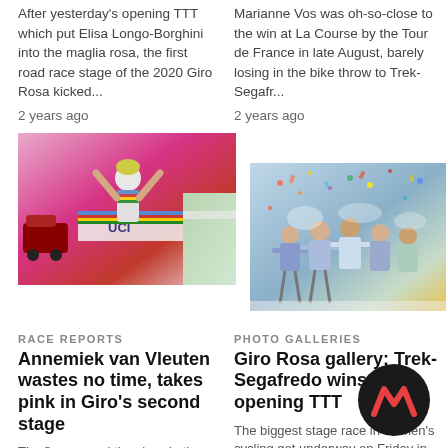After yesterday's opening TTT which put Elisa Longo-Borghini into the maglia rosa, the first road race stage of the 2020 Giro Rosa kicked...
2 years ago
Marianne Vos was oh-so-close to the win at La Course by the Tour de France in late August, barely losing in the bike throw to Trek-Segafr...
2 years ago
[Figure (photo): Cyclist in rainbow world champion jersey with arms raised in victory at finish line, UCI banner visible, pink background]
[Figure (photo): Group of cyclists celebrating with confetti spray at finish line of stage race]
RACE REPORTS
PHOTO GALLERIES
Annemiek van Vleuten wastes no time, takes pink in Giro's second stage
Giro Rosa gallery: Trek-Segafredo wins the opening TTT
The five-second time loss in the Giro Rosa's opening team time trial meant little to
The biggest stage race in women's cycling got underway on Friday in the town of